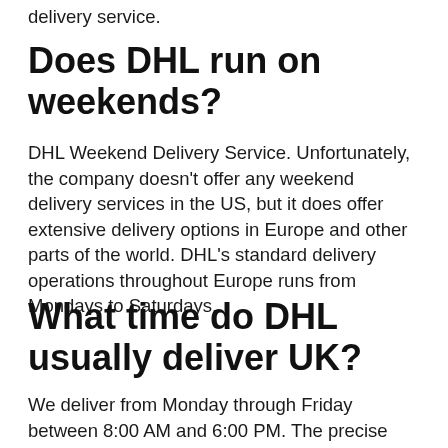delivery service.
Does DHL run on weekends?
DHL Weekend Delivery Service. Unfortunately, the company doesn't offer any weekend delivery services in the US, but it does offer extensive delivery options in Europe and other parts of the world. DHL's standard delivery operations throughout Europe runs from Mondays to Saturdays.
What time do DHL usually deliver UK?
We deliver from Monday through Friday between 8:00 AM and 6:00 PM. The precise delivery times may differ and depend on the